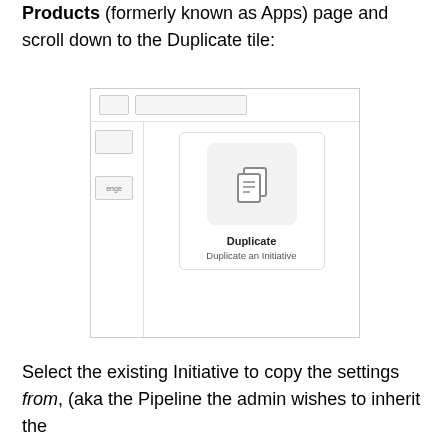Products (formerly known as Apps) page and scroll down to the Duplicate tile:
[Figure (screenshot): Screenshot of a UI showing a tile panel with a Duplicate tile. The tile has an icon of two overlapping document pages on a light grey rounded background. Below the icon is the bold label 'Duplicate' and the subtitle 'Duplicate an Initiative'. A partial label 'enge' is visible on the left panel.]
Select the existing Initiative to copy the settings from, (aka the Pipeline the admin wishes to inherit the